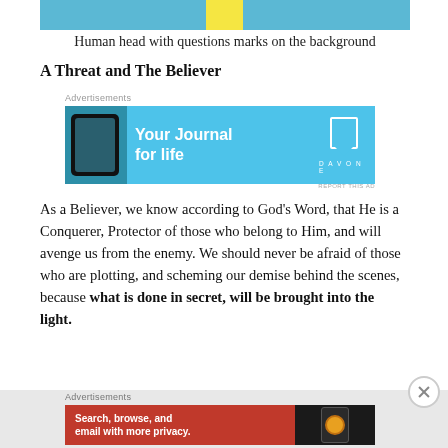[Figure (photo): Partial view of image: human head with question marks on blue background with yellow element]
Human head with questions marks on the background
A Threat and The Believer
[Figure (other): Advertisement banner: Your Journal for life — DavOne app]
As a Believer, we know according to God’s Word, that He is a Conquerer, Protector of those who belong to Him, and will avenge us from the enemy. We should never be afraid of those who are plotting, and scheming our demise behind the scenes, because what is done in secret, will be brought into the light.
[Figure (other): Advertisement banner: DuckDuckGo — Search, browse, and email with more privacy. All in One Free App]